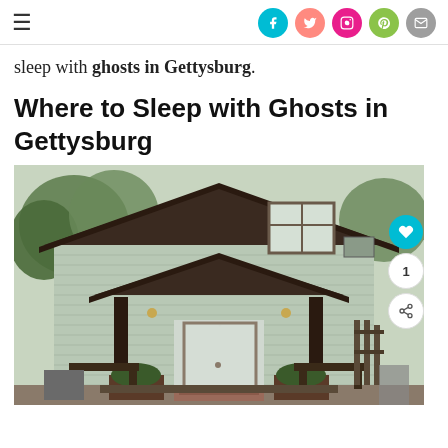Navigation header with hamburger menu and social icons (Facebook, Twitter, Instagram, Pinterest, Email)
sleep with ghosts in Gettysburg.
Where to Sleep with Ghosts in Gettysburg
[Figure (photo): Photo of a light gray/sage colored residential house with dark brown trim, covered front porch with two columns, white front door with sidelights, two benches flanking the entrance steps, and a second story visible behind. Trees visible in background.]